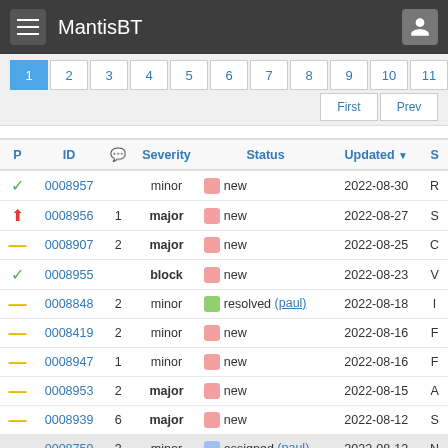MantisBT
| P | ID | 💬 | Severity | Status | Updated ▼ | S |
| --- | --- | --- | --- | --- | --- | --- |
| ↓ | 0008957 |  | minor | new | 2022-08-30 | R |
| ↑ | 0008956 | 1 | major | new | 2022-08-27 | S |
| — | 0008907 | 2 | major | new | 2022-08-25 | C |
| ↓ | 0008955 |  | block | new | 2022-08-23 | V |
| — | 0008848 | 2 | minor | resolved (paul) | 2022-08-18 | I |
| — | 0008419 | 2 | minor | new | 2022-08-16 | F |
| — | 0008947 | 1 | minor | new | 2022-08-16 | F |
| — | 0008953 | 2 | major | new | 2022-08-15 | A |
| — | 0008939 | 6 | major | new | 2022-08-12 | S |
| — | 0008759 | 3 | minor | assigned (paul) | 2022-08-12 | N |